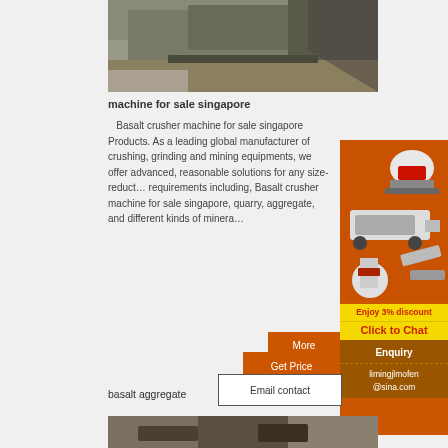[Figure (photo): Aerial/side view of a large tracked mining crawler/crusher machine on rocks and gravel terrain]
machine for sale singapore
Basalt crusher machine for sale singapore Products. As a leading global manufacturer of crushing, grinding and mining equipments, we offer advanced, reasonable solutions for any size-reduction requirements including, Basalt crusher machine for sale singapore, quarry, aggregate, and different kinds of minerals.
[Figure (infographic): Orange advertisement sidebar showing mining/crushing machinery images with text 'Enjoy 3% discount' and 'Click to Chat' in yellow, plus 'Enquiry' and 'limingjlmofen@sina.com' contact info]
More
Get Price
Email contact
basalt aggregate
[Figure (photo): Bottom portion of another mining/construction scene photo]